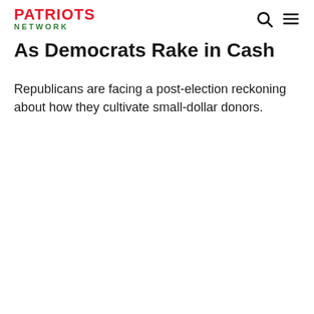PATRIOTS NETWORK
As Democrats Rake in Cash
Republicans are facing a post-election reckoning about how they cultivate small-dollar donors.